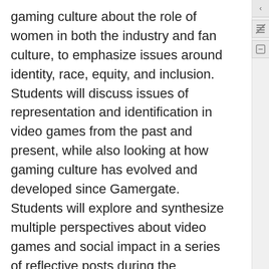gaming culture about the role of women in both the industry and fan culture, to emphasize issues around identity, race, equity, and inclusion. Students will discuss issues of representation and identification in video games from the past and present, while also looking at how gaming culture has evolved and developed since Gamergate. Students will explore and synthesize multiple perspectives about video games and social impact in a series of reflective posts during the semester. Students will explore, build, and connect using a variety of gaming platforms (Twine, Minecraft, Roblox). For the final, students will create a game that will be shared at an eSports festival that will be held online.
Information Literacy Learning Objective
By the completion of their First-Year Experience course, a student will be able to...